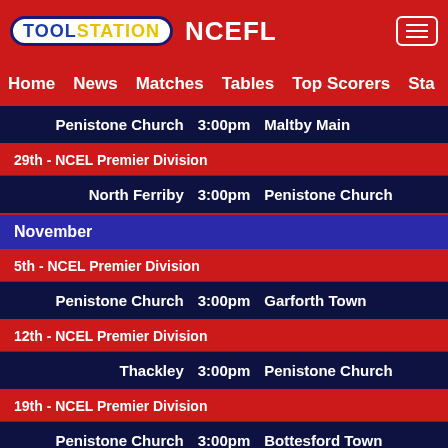TOOLSTATION NCEFL
Home  News  Matches  Tables  Top Scorers  Sta
Penistone Church  3:00pm  Maltby Main
29th - NCEL Premier Division
North Ferriby  3:00pm  Penistone Church
November
5th - NCEL Premier Division
Penistone Church  3:00pm  Garforth Town
12th - NCEL Premier Division
Thackley  3:00pm  Penistone Church
19th - NCEL Premier Division
Penistone Church  3:00pm  Bottesford Town
26th - NCEL Premier Division